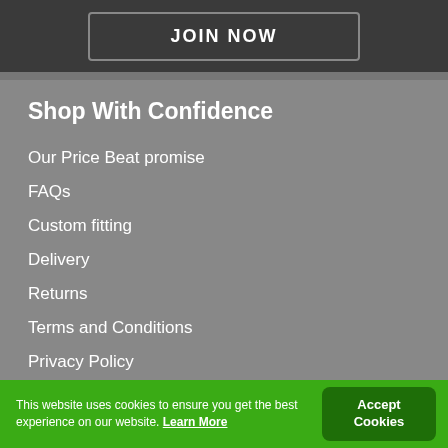JOIN NOW
Shop With Confidence
Our Price Beat promise
FAQs
Custom fitting
Delivery
Returns
Terms and Conditions
Privacy Policy
Cookie Policy
This website uses cookies to ensure you get the best experience on our website. Learn More
Accept Cookies